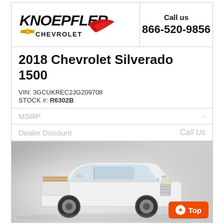[Figure (logo): Knoepfler Chevrolet dealership logo with gold bowtie emblem and red swoosh]
Call us
866-520-9856
2018 Chevrolet Silverado 1500
VIN: 3GCUKREC2JG209708
STOCK #: R6302B
MSRP:
Dealer Discount                                         Call Us
CLICK HERE   $38,247
[Figure (photo): White 2018 Chevrolet Silverado 1500 truck photographed in a showroom with lumber in the truck bed]